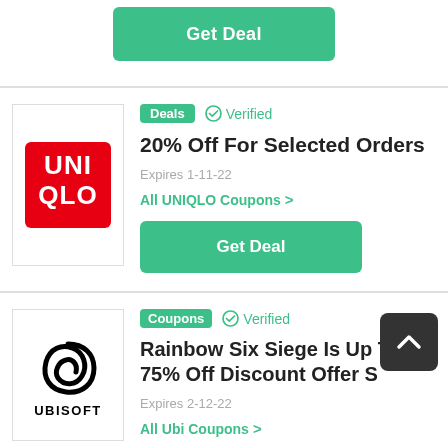[Figure (other): Green Get Deal button at top of page]
[Figure (logo): UNIQLO logo — white text on red square background]
Deals  ✓ Verified
20% Off For Selected Orders
Expires 1-11-22
All UNIQLO Coupons >
[Figure (other): Green Get Deal button]
[Figure (logo): Ubisoft logo — black spiral with UBISOFT text below]
Coupons  ✓ Verified
Rainbow Six Siege Is Up To 75% Off Discount Offer S
Expires 2-12-22
All Ubi Coupons >